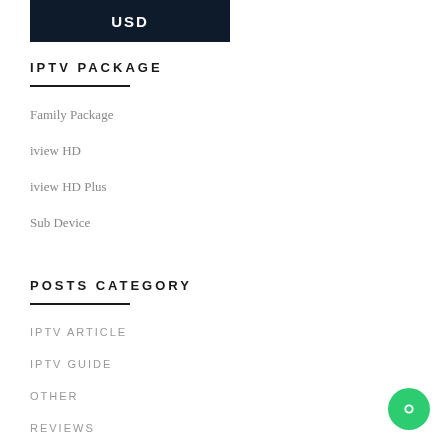[Figure (other): USD currency selector button, dark navy background with white bold USD text]
IPTV PACKAGE
Family Package
iview HD
iview HD Plus
Sub Device
POSTS CATEGORY
IPTV ARTICLE
IPTV GUIDE
OTHER
REVIEWS